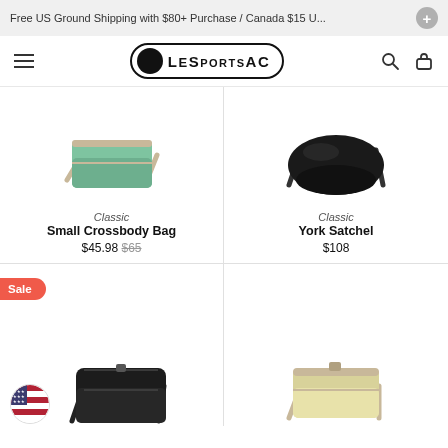Free US Ground Shipping with $80+ Purchase / Canada $15 U...
[Figure (logo): LeSportsac logo in pill-shaped border with black circle dot]
[Figure (photo): Green/mint Small Crossbody Bag with beige strap on white background]
Classic
Small Crossbody Bag
$45.98 $65
[Figure (photo): Black shiny York Satchel bag with strap on white background]
Classic
York Satchel
$108
Sale
[Figure (photo): Black crossbody bag with multiple pockets and adjustable strap, US flag icon overlay]
[Figure (photo): Light yellow/cream Small Crossbody Bag with beige strap on white background]